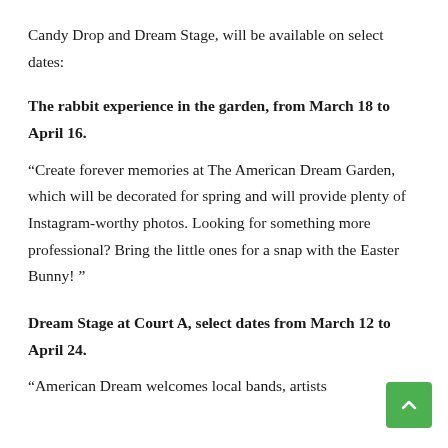Candy Drop and Dream Stage, will be available on select dates:
The rabbit experience in the garden, from March 18 to April 16.
“Create forever memories at The American Dream Garden, which will be decorated for spring and will provide plenty of Instagram-worthy photos. Looking for something more professional? Bring the little ones for a snap with the Easter Bunny! ”
Dream Stage at Court A, select dates from March 12 to April 24.
“American Dream welcomes local bands, artists